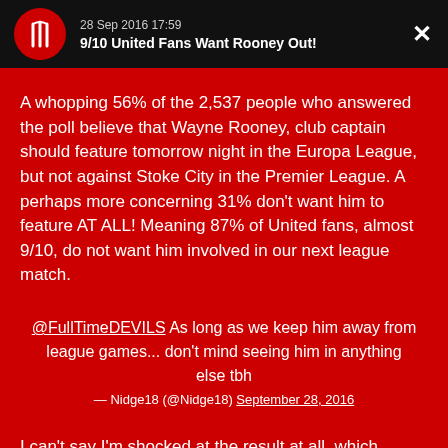28 Sep 2016 17:59
9/10 United Fans Want Rooney Out!
A whopping 56% of the 2,537 people who answered the poll believe that Wayne Rooney, club captain should feature tomorrow night in the Europa League, but not against Stoke City in the Premier League. A perhaps more concerning 31% don't want him to feature AT ALL! Meaning 87% of United fans, almost 9/10, do not want him involved in our next league match.
@FullTimeDEVILS As long as we keep him away from league games... don't mind seeing him in anything else tbh
— Nidge18 (@Nidge18) September 28, 2016
I can't say I'm shocked at the result at all, which shows how far Rooney's stock has fallen. Even his omission for the starting XI...